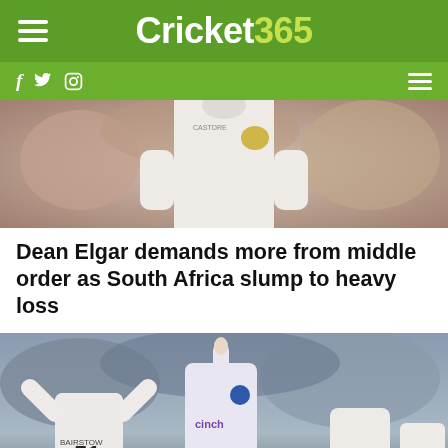Cricket365
[Figure (photo): Cricket player in white South Africa kit, torso visible, blurred crowd background]
Dean Elgar demands more from middle order as South Africa slump to heavy loss
[Figure (photo): England cricket players celebrating on field, BAIRSTOW 51 shirt visible, player raising finger, cinch sponsorship on shirt, crowd in background, red advertising hoarding at bottom]